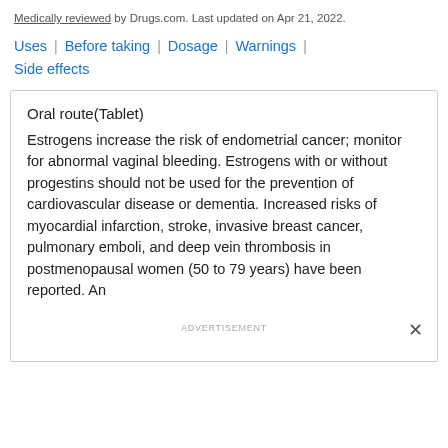Medically reviewed by Drugs.com. Last updated on Apr 21, 2022.
Uses | Before taking | Dosage | Warnings | Side effects
Oral route(Tablet)
Estrogens increase the risk of endometrial cancer; monitor for abnormal vaginal bleeding. Estrogens with or without progestins should not be used for the prevention of cardiovascular disease or dementia. Increased risks of myocardial infarction, stroke, invasive breast cancer, pulmonary emboli, and deep vein thrombosis in postmenopausal women (50 to 79 years) have been reported. An